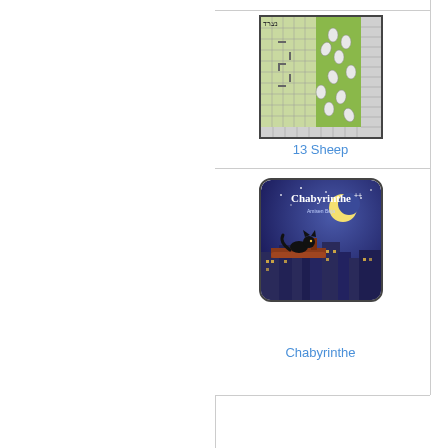[Figure (illustration): 13 Sheep board game image showing a green grid game board with sheep pieces and scoring tracks]
13 Sheep
[Figure (illustration): Chabyrinthe board game box showing a black cat silhouette on a rooftop under a crescent moon with a city skyline, purple/blue night sky]
Chabyrinthe